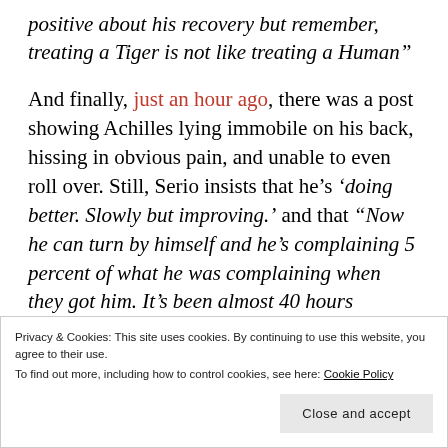positive about his recovery but remember, treating a Tiger is not like treating a Human”
And finally, just an hour ago, there was a post showing Achilles lying immobile on his back, hissing in obvious pain, and unable to even roll over. Still, Serio insists that he’s ‘doing better. Slowly but improving.’ and that “Now he can turn by himself and he’s complaining 5 percent of what he was complaining when they got him. It’s been almost 40 hours without painkillers so I’m very happy.” He ends by saying “I’m positive that Achilles
Privacy & Cookies: This site uses cookies. By continuing to use this website, you agree to their use.
To find out more, including how to control cookies, see here: Cookie Policy